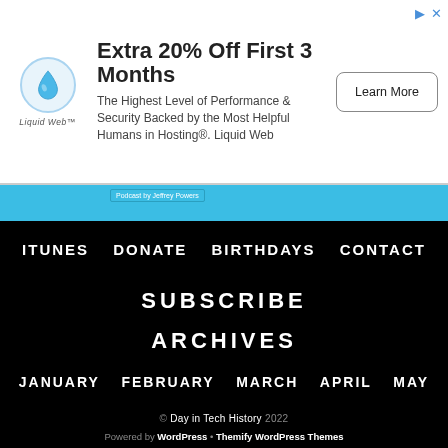[Figure (advertisement): Liquid Web advertisement banner: logo with water drop icon, headline 'Extra 20% Off First 3 Months', body text 'The Highest Level of Performance & Security Backed by the Most Helpful Humans in Hosting®. Liquid Web', and a 'Learn More' button]
ITUNES   DONATE   BIRTHDAYS   CONTACT
SUBSCRIBE
ARCHIVES
JANUARY   FEBRUARY   MARCH   APRIL   MAY
© Day in Tech History 2022
Powered by WordPress • Themify WordPress Themes